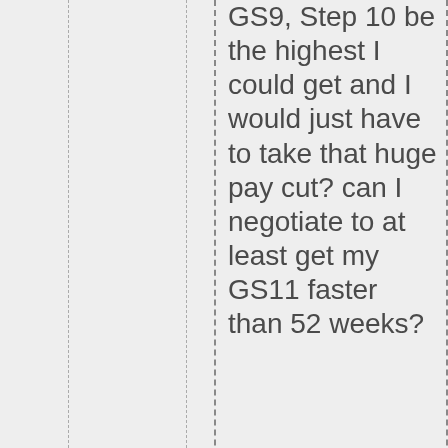GS9, Step 10 be the highest I could get and I would just have to take that huge pay cut? can I negotiate to at least get my GS11 faster than 52 weeks?
Are you including LEAP? Because the salary for GS-